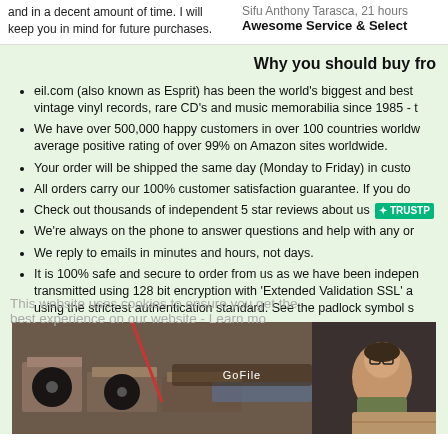and in a decent amount of time. I will keep you in mind for future purchases.
Sifu Anthony Tarasca, 21 hours
Awesome Service & Select
Why you should buy fro
eil.com (also known as Esprit) has been the world's biggest and best vintage vinyl records, rare CD's and music memorabilia since 1985 - t
We have over 500,000 happy customers in over 100 countries worldw average positive rating of over 99% on Amazon sites worldwide.
Your order will be shipped the same day (Monday to Friday) in custo
All orders carry our 100% customer satisfaction guarantee. If you do
Check out thousands of independent 5 star reviews about us [TRUSTPILOT]
We're always on the phone to answer questions and help with any or
We reply to emails in minutes and hours, not days.
It is 100% safe and secure to order from us as we have been indepen transmitted using 128 bit encryption with 'Extended Validation SSL' a using the strictest authentication standard. See the padlock symbol s
This website uses cookies to ensure you get the best experience on our website - Learn mo
[Figure (photo): Warehouse photo showing staff packing vinyl records and music media in boxes]